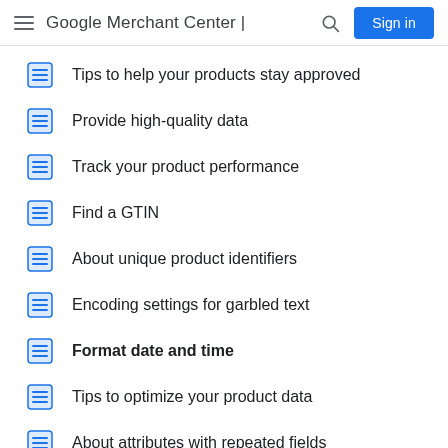Google Merchant Center | Sign in
Tips to help your products stay approved
Provide high-quality data
Track your product performance
Find a GTIN
About unique product identifiers
Encoding settings for garbled text
Format date and time
Tips to optimize your product data
About attributes with repeated fields